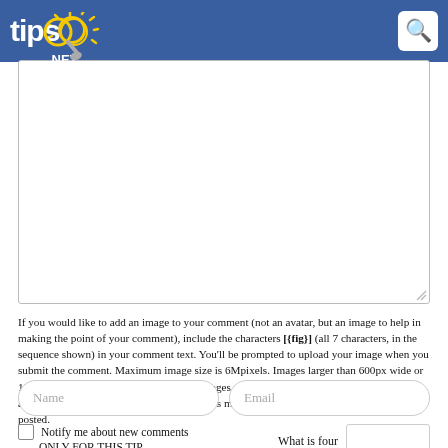tips.NET
[Figure (screenshot): Large white textarea input box for comment text entry]
If you would like to add an image to your comment (not an avatar, but an image to help in making the point of your comment), include the characters [{fig}] (all 7 characters, in the sequence shown) in your comment text. You'll be prompted to upload your image when you submit the comment. Maximum image size is 6Mpixels. Images larger than 600px wide or 1000px tall will be reduced. Up to three images may be included in a comment. All images are subject to review. Commenting privileges may be curtailed if inappropriate images are posted.
[Figure (screenshot): Name input field (rounded rectangle) and Email input field (rounded rectangle) side by side]
Notify me about new comments ONLY FOR THIS TIP
What is four minus 0?